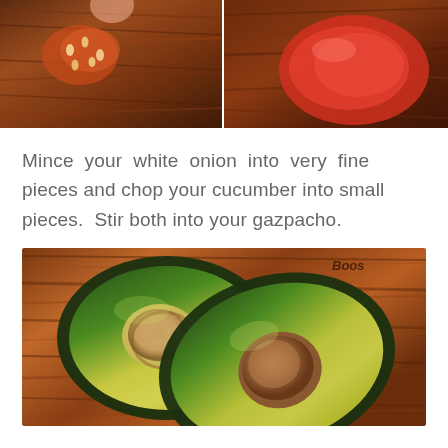[Figure (photo): Two side-by-side food photos on a wooden cutting board: left shows seeds/tomato flesh close-up, right shows a red pepper or tomato piece]
Mince your white onion into very fine pieces and chop your cucumber into small pieces. Stir both into your gazpacho.
[Figure (photo): A halved avocado on a wooden cutting board showing the pit and green flesh, with a 'Boos' branded board visible in the top right corner]